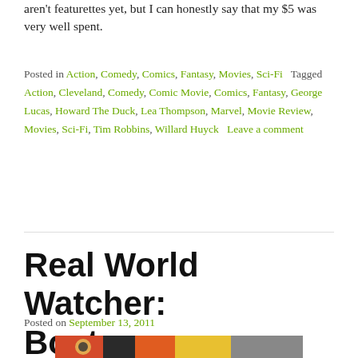aren't featurettes yet, but I can honestly say that my $5 was very well spent.
Posted in Action, Comedy, Comics, Fantasy, Movies, Sci-Fi   Tagged Action, Cleveland, Comedy, Comic Movie, Comics, Fantasy, George Lucas, Howard The Duck, Lea Thompson, Marvel, Movie Review, Movies, Sci-Fi, Tim Robbins, Willard Huyck   Leave a comment
Real World Watcher: Boston
Posted on September 13, 2011
[Figure (photo): Group photo from Real World Boston cast with colorful background imagery]